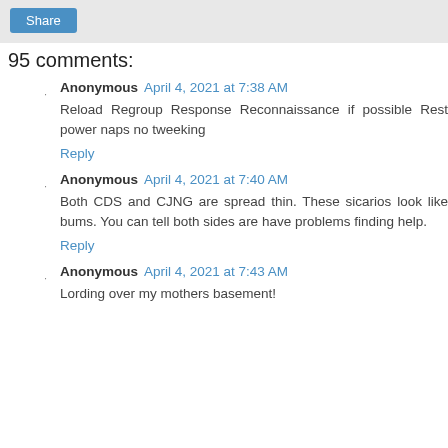Share
95 comments:
Anonymous April 4, 2021 at 7:38 AM
Reload Regroup Response Reconnaissance if possible Rest power naps no tweeking
Reply
Anonymous April 4, 2021 at 7:40 AM
Both CDS and CJNG are spread thin. These sicarios look like bums. You can tell both sides are have problems finding help.
Reply
Anonymous April 4, 2021 at 7:43 AM
Lording over my mothers basement!